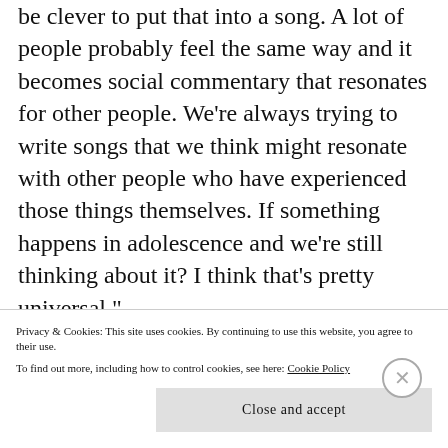be clever to put that into a song. A lot of people probably feel the same way and it becomes social commentary that resonates for other people. We're always trying to write songs that we think might resonate with other people who have experienced those things themselves. If something happens in adolescence and we're still thinking about it? I think that's pretty universal."
"Chick'n" appeared on the group's 2016 debut full-length Jurassic Punk, a record filled with exuberant songs that offer a perspective looking to encourage the
Privacy & Cookies: This site uses cookies. By continuing to use this website, you agree to their use.
To find out more, including how to control cookies, see here: Cookie Policy
Close and accept